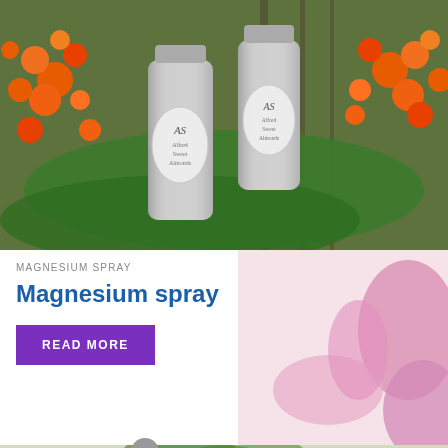[Figure (photo): Two silver aluminum spray bottles with 'AS' logo label, surrounded by orange tropical flowers and green palm leaves on a wooden surface]
MAGNESIUM SPRAY
Magnesium spray
READ MORE
[Figure (photo): Pink spa stones and soft pink background, partial view of a spa/wellness scene]
[Figure (photo): Green leafy plant with blurred background showing a candle or bottle, with a purple shopping cart widget overlay showing 0 items]